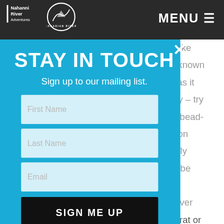Nahanni River Adventures | Canadian River (logo) | MENU
s like
e known
k as it
dry – try
s, bead-
mon
a fly
to be
s
cover
STAY IN TOUCH
Sign up to our mailing list.
First Name
Last Name
Email
SIGN ME UP
or weed beds and attack small mice, muskrat or frog patterns dragged across the surface.